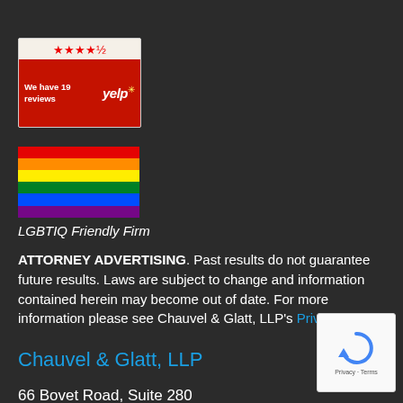[Figure (logo): Yelp review badge showing 4.5 stars and 'We have 19 reviews' with Yelp logo on red background]
[Figure (illustration): Rainbow pride flag with six horizontal stripes: red, orange, yellow, green, blue, purple]
LGBTIQ Friendly Firm
ATTORNEY ADVERTISING. Past results do not guarantee future results. Laws are subject to change and information contained herein may become out of date. For more information please see Chauvel & Glatt, LLP's Privacy Policy.
Chauvel & Glatt, LLP
66 Bovet Road, Suite 280
[Figure (logo): Google reCAPTCHA badge with circular arrow icon and 'Privacy - Terms' text]